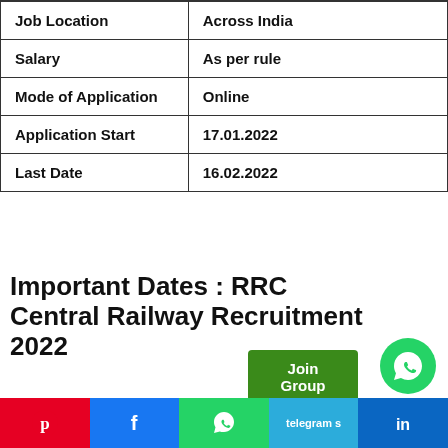| Field | Value |
| --- | --- |
| Job Location | Across India |
| Salary | As per rule |
| Mode of Application | Online |
| Application Start | 17.01.2022 |
| Last Date | 16.02.2022 |
Important Dates : RRC Central Railway Recruitment 2022
Starting Date to Apply : 17 January 2022
Last Date to Apply : 16 February 2022
Social share bar: Pinterest, Facebook, WhatsApp, Telegram, LinkedIn